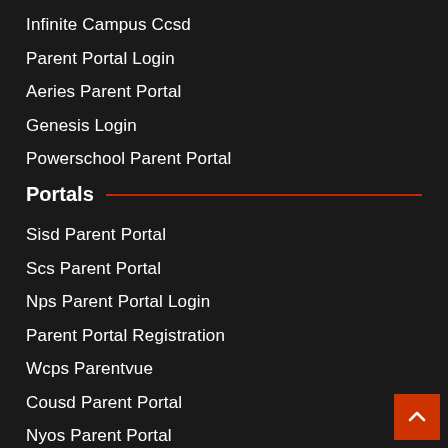Infinite Campus Ccsd
Parent Portal Login
Aeries Parent Portal
Genesis Login
Powerschool Parent Portal
Portals
Sisd Parent Portal
Scs Parent Portal
Nps Parent Portal Login
Parent Portal Registration
Wcps Parentvue
Cousd Parent Portal
Nyos Parent Portal
Brazosport Isd Parent Portal
La Vega Parent Portal
Aesa Parent Portal